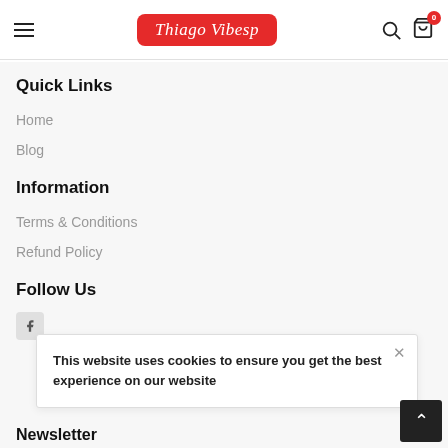Thiago Vibesp
Quick Links
Home
Blog
Information
Terms & Conditions
Refund Policy
Follow Us
This website uses cookies to ensure you get the best experience on our website
Newsletter